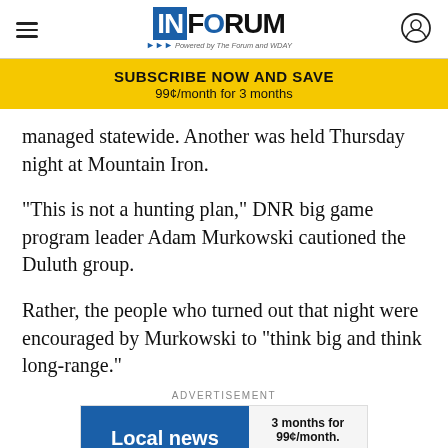INFORUM - Powered by The Forum and WDAY
SUBSCRIBE NOW AND SAVE
99¢/month for 3 months
managed statewide. Another was held Thursday night at Mountain Iron.
"This is not a hunting plan," DNR big game program leader Adam Murkowski cautioned the Duluth group.
Rather, the people who turned out that night were encouraged by Murkowski to "think big and think long-range."
ADVERTISEMENT
[Figure (other): InForum subscription advertisement: Local news you need. 3 months for 99¢/month. SUBSCRIBE TODAY button.]